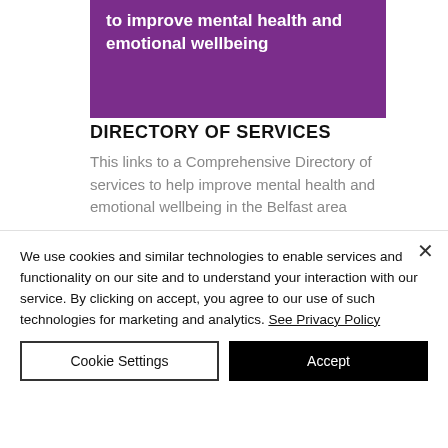Directory of services to improve mental health and emotional wellbeing
DIRECTORY OF SERVICES
This links to a Comprehensive Directory of services to help improve mental health and emotional wellbeing in the Belfast area
[Figure (other): Pink button/bar element]
We use cookies and similar technologies to enable services and functionality on our site and to understand your interaction with our service. By clicking on accept, you agree to our use of such technologies for marketing and analytics. See Privacy Policy
Cookie Settings
Accept